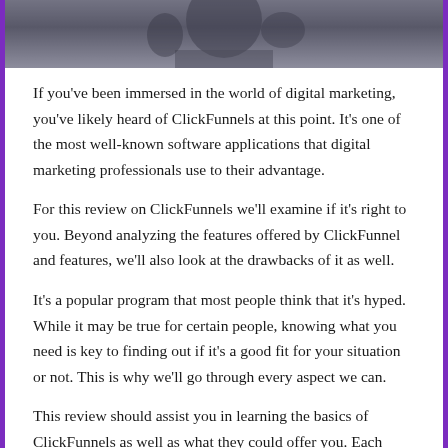[Figure (photo): Partial photo of a person, cropped at top of page, dark/muted tones]
If you've been immersed in the world of digital marketing, you've likely heard of ClickFunnels at this point. It's one of the most well-known software applications that digital marketing professionals use to their advantage.
For this review on ClickFunnels we'll examine if it's right to you. Beyond analyzing the features offered by ClickFunnel and features, we'll also look at the drawbacks of it as well.
It's a popular program that most people think that it's hyped. While it may be true for certain people, knowing what you need is key to finding out if it's a good fit for your situation or not. This is why we'll go through every aspect we can.
This review should assist you in learning the basics of ClickFunnels as well as what they could offer you. Each business has its own goals